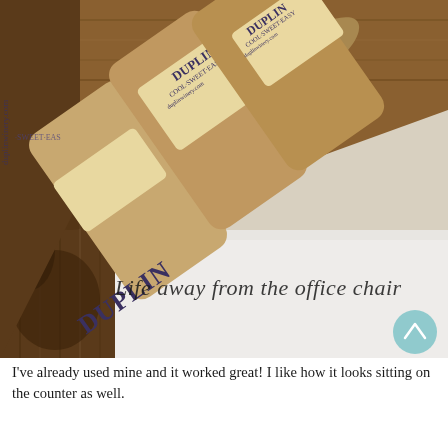[Figure (photo): Close-up photograph of wine corks with Duplin Winery branding (Cool Sweet Easy, duplinwinery.com) arranged in a wooden frame corner. The lower portion of the image shows text in cursive: 'Life away from the office chair'. A teal circular scroll-up button is visible in the bottom-right corner.]
I've already used mine and it worked great! I like how it looks sitting on the counter as well.